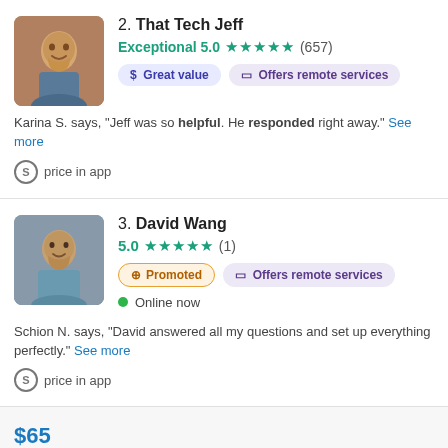2. That Tech Jeff — Exceptional 5.0 ★★★★★ (657) — Great value, Offers remote services — Karina S. says, "Jeff was so helpful. He responded right away." — price in app
3. David Wang — 5.0 ★★★★★ (1) — Promoted, Offers remote services — Online now — Schion N. says, "David answered all my questions and set up everything perfectly." — price in app
[Figure (photo): Profile photo of That Tech Jeff]
[Figure (photo): Profile photo of David Wang]